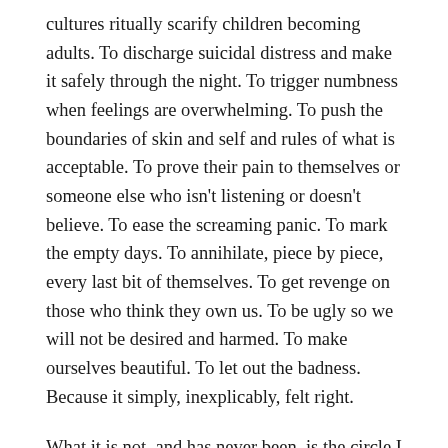cultures ritually scarify children becoming adults. To discharge suicidal distress and make it safely through the night. To trigger numbness when feelings are overwhelming. To push the boundaries of skin and self and rules of what is acceptable. To prove their pain to themselves or someone else who isn't listening or doesn't believe. To ease the screaming panic. To mark the empty days. To annihilate, piece by piece, every last bit of themselves. To get revenge on those who think they own us. To be ugly so we will not be desired and harmed. To make ourselves beautiful. To let out the badness. Because it simply, inexplicably, felt right.
What it is not, and has never been, is the circle I hear so often. They self harm because they are mentally ill: we know they are mentally ill because they self harm.